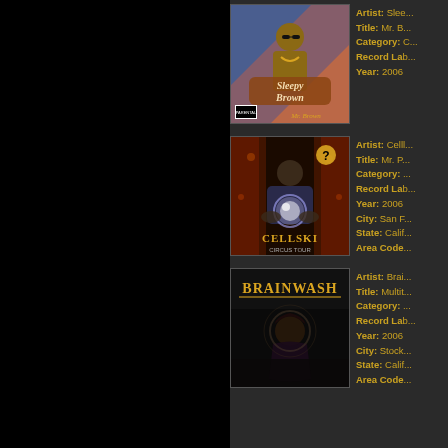[Figure (photo): Album cover for Sleepy Brown - Mr. Brown (2006), showing a muscular man with sunglasses in a colorful graffiti style background with 'Sleepy Brown' text and 'Mr. Brown' at bottom]
Artist: Slee... Title: Mr. B... Category: C... Record Lab... Year: 2006
[Figure (photo): Album cover for Cellski - Mr. P... (2006), showing a large man in suit holding a glowing crystal ball, theatrical/dark lighting with 'CELLSKI' text at bottom]
Artist: Celll... Title: Mr. P... Category: ... Record Lab... Year: 2006 City: San F... State: Calif... Area Code...
[Figure (photo): Album cover for Brainwash - Multit... (2006), dark cover with 'BRAINWASH' text in gold at top, silhouette of woman below]
Artist: Brai... Title: Multit... Category: ... Record Lab... Year: 2006 City: Stock... State: Calif... Area Code...